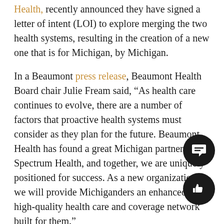Health, recently announced they have signed a letter of intent (LOI) to explore merging the two health systems, resulting in the creation of a new one that is for Michigan, by Michigan.
In a Beaumont press release, Beaumont Health Board chair Julie Fream said, "As health care continues to evolve, there are a number of factors that proactive health systems must consider as they plan for the future. Beaumont Health has found a great Michigan partner in Spectrum Health, and together, we are uniquely positioned for success. As a new organization, we will provide Michiganders an enhanced, high-quality health care and coverage network built for them."
The LOI also highlighted goals that Beaumont Health and Spectrum Health have for the merger, which include improving health and health equity, enhancing the consumer experience, improving health care quality, making health